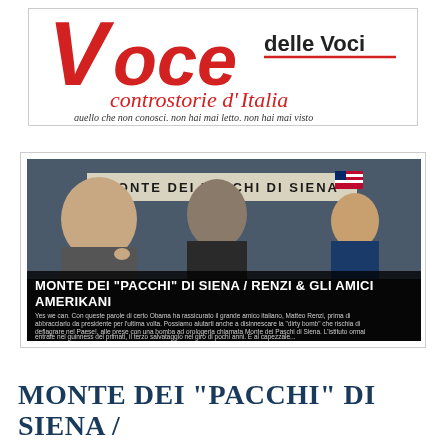[Figure (logo): Voce delle Voci logo — red stylized V with 'oce' in bold italic red, 'delle Voci' in dark text with red line, 'controstorie d' Italia' in red italic script, tagline 'quello che non conosci, non hai mai letto, non hai mai visto' in small italic]
[Figure (photo): News article image showing Monte dei Paschi di Siena bank sign with three men (politicians/bankers) and American flag. Headline: MONTE DEI 'PACCHI' DI SIENA / RENZI & GLI AMICI AMERIKANI. Text excerpt about Obama reassuring Matteo Renzi and the Monte dei Paschi di Siena bank crisis.]
MONTE DEI "PACCHI" DI SIENA /